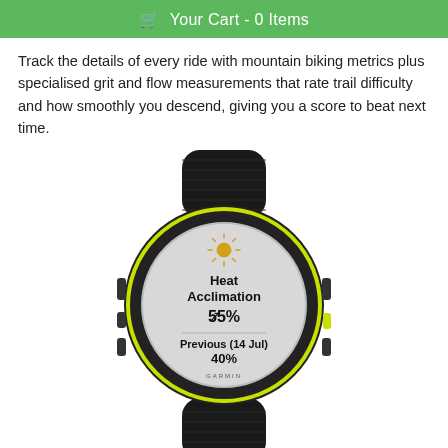Your Cart - 0 Items
Track the details of every ride with mountain biking metrics plus specialised grit and flow measurements that rate trail difficulty and how smoothly you descend, giving you a score to beat next time.
[Figure (photo): Garmin smartwatch with black body and neon yellow accents on a black nylon strap. Watch face displays 'Heat Acclimation' with an upward trending arrow and '55%', and below 'Previous (14 Jul) 40%'. A sun icon is shown near the top of the watch face.]